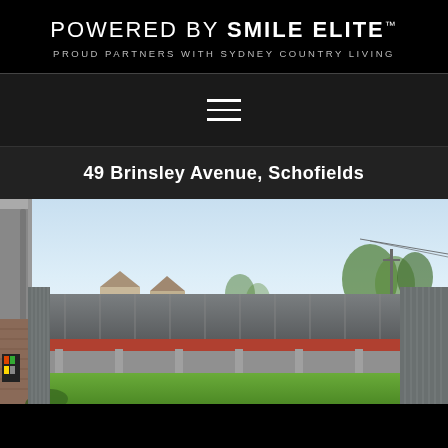POWERED BY SMILE ELITE™ — PROUD PARTNERS WITH SYDNEY COUNTRY LIVING
[Figure (other): Hamburger menu icon (three horizontal white lines) on dark background]
49 Brinsley Avenue, Schofields
[Figure (photo): Photograph of the backyard of 49 Brinsley Avenue, Schofields. Shows a rectangular lawn surrounded by tall grey colorbond fencing and retaining walls, with a house eave on the left, trees in the background, and a clear sky.]